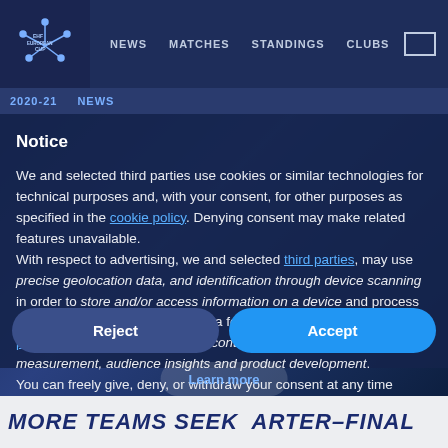EHF EUROPEAN CUP — NEWS | MATCHES | STANDINGS | CLUBS
2020-21  NEWS
Notice
We and selected third parties use cookies or similar technologies for technical purposes and, with your consent, for other purposes as specified in the cookie policy. Denying consent may make related features unavailable.
With respect to advertising, we and selected third parties, may use precise geolocation data, and identification through device scanning in order to store and/or access information on a device and process personal data like your usage data for the following advertising purposes: personalized ads and content, ad and content measurement, audience insights and product development.
You can freely give, deny, or withdraw your consent at any time
Reject
Accept
Learn more
MORE TEAMS SEEK QUARTER-FINAL